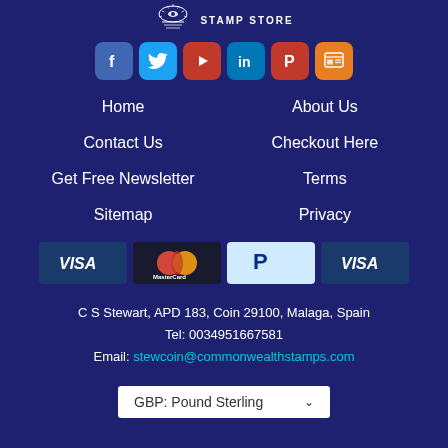[Figure (logo): Website logo with emblem and STAMP STORE text]
[Figure (infographic): Social media icons: Facebook, Twitter, YouTube, LinkedIn, Pinterest, RSS/News]
Home
About Us
Contact Us
Checkout Here
Get Free Newsletter
Terms
Sitemap
Privacy
[Figure (infographic): Payment method icons: VISA (dark), MasterCard, PayPal, VISA (blue)]
C S Stewart, APD 183, Coin 29100, Malaga, Spain
Tel: 0034951667581
Email: stewcoin@commonwealthstamps.com
GBP: Pound Sterling